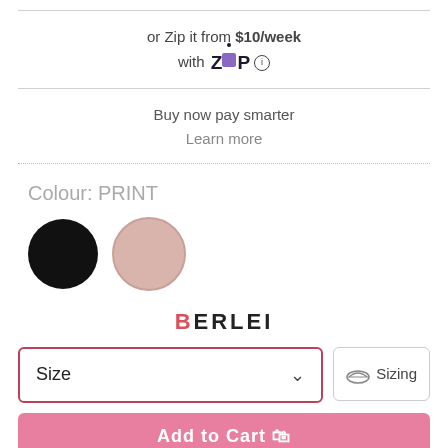or Zip it from $10/week with Zip ℹ
Buy now pay smarter
Learn more
Colour: PRINT
[Figure (other): Two colour swatches: a black circle and a pink/nude circle]
BERLEI
Size
Sizing
Add to Cart